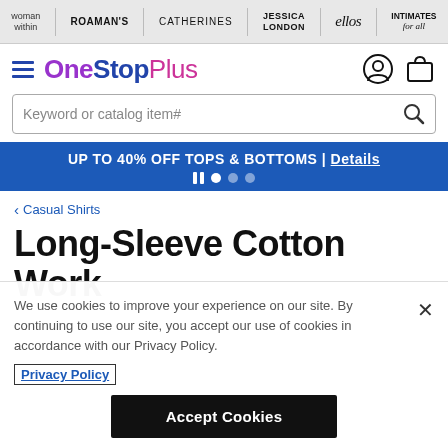woman within | ROAMAN'S | CATHERINES | JESSICA LONDON | ellos | INTIMATES for all
OneStopPlus
Keyword or catalog item#
UP TO 40% OFF TOPS & BOTTOMS | Details
Casual Shirts
Long-Sleeve Cotton Work
We use cookies to improve your experience on our site. By continuing to use our site, you accept our use of cookies in accordance with our Privacy Policy.
Privacy Policy
Accept Cookies